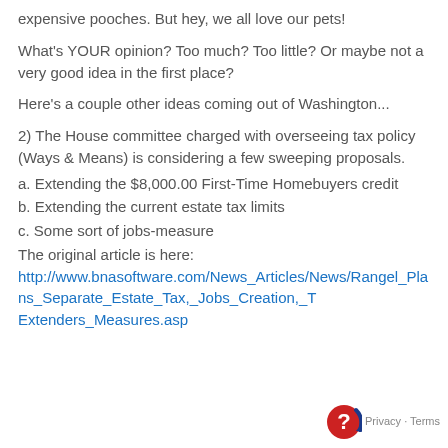expensive pooches. But hey, we all love our pets!
What's YOUR opinion? Too much? Too little? Or maybe not a very good idea in the first place?
Here's a couple other ideas coming out of Washington...
2) The House committee charged with overseeing tax policy (Ways & Means) is considering a few sweeping proposals.
a. Extending the $8,000.00 First-Time Homebuyers credit
b. Extending the current estate tax limits
c. Some sort of jobs-measure
The original article is here:
http://www.bnasoftware.com/News_Articles/News/Rangel_Plans_Separate_Estate_Tax,_Jobs_Creation,_Tax_Extenders_Measures.asp